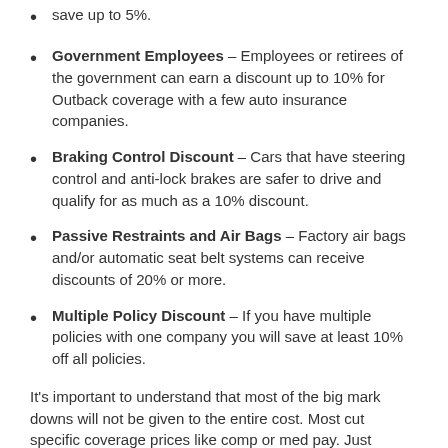save up to 5%.
Government Employees – Employees or retirees of the government can earn a discount up to 10% for Outback coverage with a few auto insurance companies.
Braking Control Discount – Cars that have steering control and anti-lock brakes are safer to drive and qualify for as much as a 10% discount.
Passive Restraints and Air Bags – Factory air bags and/or automatic seat belt systems can receive discounts of 20% or more.
Multiple Policy Discount – If you have multiple policies with one company you will save at least 10% off all policies.
It's important to understand that most of the big mark downs will not be given to the entire cost. Most cut specific coverage prices like comp or med pay. Just because you may think you can get free auto insurance, it just doesn't work that way. Any amount of discount will cut the cost of coverage.